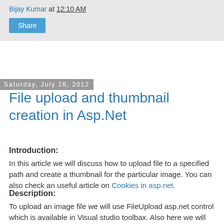Bijay Kumar at 12:10 AM
Share
Saturday, July 28, 2012
File upload and thumbnail creation in Asp.Net
Introduction:
In this article we will discuss how to upload file to a specified path and create a thumbnail for the particular image. You can also check an useful article on Cookies in asp.net.
Description:
To upload an image file we will use FileUpload asp.net control which is available in Visual studio toolbax. Also here we will check the size of the image and the extension also.
HTML Code:
<asp:FileUpload ID="FileUpload1" runat="server" Width="300px" />